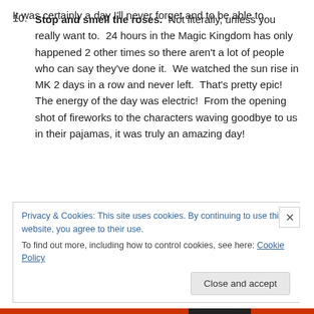10. Stop and smell the roses. Not literally, unless you really want to. 24 hours in the Magic Kingdom has only happened 2 other times so there aren't a lot of people who can say they've done it. We watched the sun rise in MK 2 days in a row and never left. That's pretty epic! The energy of the day was electric! From the opening shot of fireworks to the characters waving goodbye to us in their pajamas, it was truly an amazing day!
It was certainly a day I'll never forget and to be able to
Privacy & Cookies: This site uses cookies. By continuing to use this website, you agree to their use. To find out more, including how to control cookies, see here: Cookie Policy